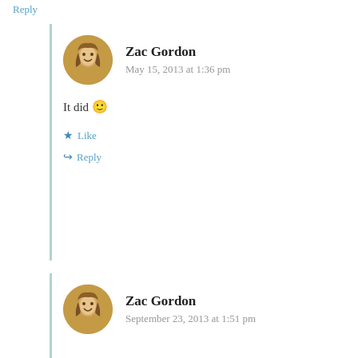Reply
Zac Gordon
May 15, 2013 at 1:36 pm
It did 🙂
Like
Reply
Zac Gordon
September 23, 2013 at 1:51 pm